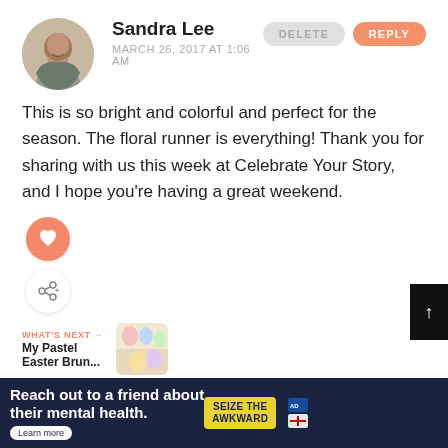[Figure (photo): Circular avatar photo of Sandra Lee, a woman smiling]
Sandra Lee
MARCH 26, 2017 AT 1:06 AM
DELETE
REPLY
This is so bright and colorful and perfect for the season. The floral runner is everything! Thank you for sharing with us this week at Celebrate Your Story, and I hope you're having a great weekend.
[Figure (illustration): Pink circle with white heart icon (like button)]
[Figure (illustration): White circle with share icon]
WHAT'S NEXT → My Pastel Easter Brun...
[Figure (photo): Two small thumbnail images of pastel Easter brunch items]
[Figure (illustration): Orange circular avatar for Jani (second commenter)]
Jani
DELETE
REPLY
[Figure (infographic): Ad banner: Reach out to a friend about their mental health. Seize the Awkward. Learn more.]